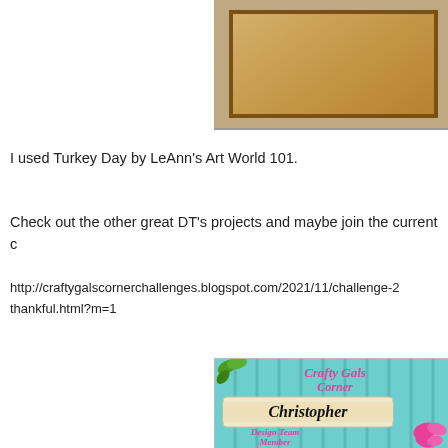[Figure (photo): Partial view of a card or craft project with a tan/gold rectangular element on a brown/tan background, partially visible at top right of page]
I used Turkey Day by LeAnn's Art World 101.
Check out the other great DT's projects and maybe join the current c
http://craftygalscornerchallenges.blogspot.com/2021/11/challenge-2 thankful.html?m=1
[Figure (illustration): Crafty Gals Corner Design Team Member badge featuring a teal wood-plank background, green leaves, a scroll banner with Christopher written in cursive, pink cursive text reading Crafty Gals Corner and Design Team Member, and a pink butterfly]